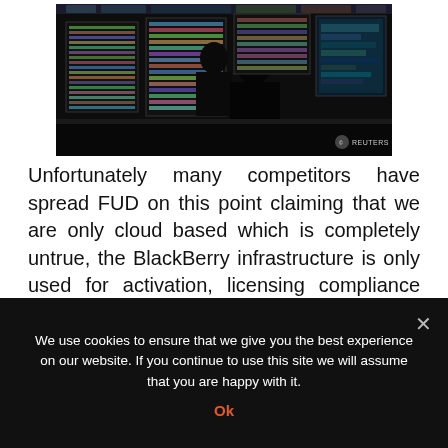[Figure (photo): Photo of two silhouetted people working in a dark control room with multiple computer monitors displaying colorful data screens. Reuters watermark in bottom right.]
Unfortunately many competitors have spread FUD on this point claiming that we are only cloud based which is completely untrue, the BlackBerry infrastructure is only used for activation, licensing compliance and policy management which does not store any customer related traffic exactly the same as Apple forces APNS connectivity requirement for
We use cookies to ensure that we give you the best experience on our website. If you continue to use this site we will assume that you are happy with it.
Ok